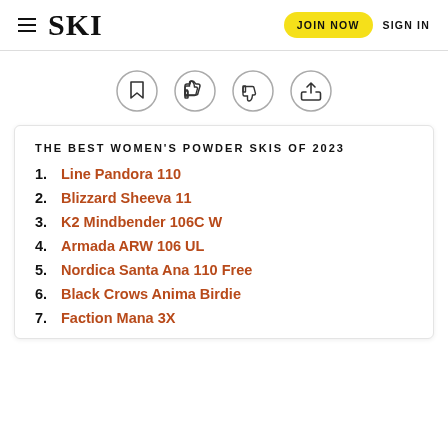SKI | JOIN NOW | SIGN IN
[Figure (other): Four circular icon buttons: bookmark, thumbs up, thumbs down, share]
THE BEST WOMEN'S POWDER SKIS OF 2023
1. Line Pandora 110
2. Blizzard Sheeva 11
3. K2 Mindbender 106C W
4. Armada ARW 106 UL
5. Nordica Santa Ana 110 Free
6. Black Crows Anima Birdie
7. Faction Mana 3X